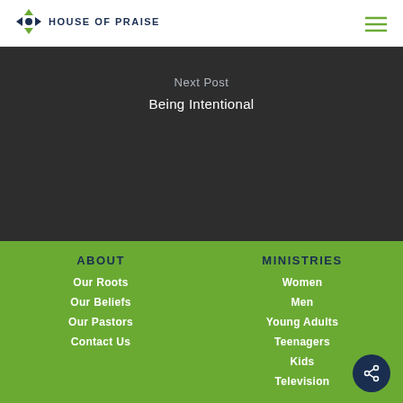HOUSE OF PRAISE
Next Post
Being Intentional
ABOUT
Our Roots
Our Beliefs
Our Pastors
Contact Us
MINISTRIES
Women
Men
Young Adults
Teenagers
Kids
Television